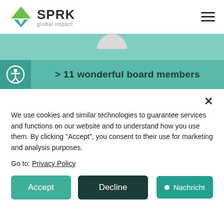SPRK global impact
[Figure (screenshot): Teal banner section with profile circle at top and accessibility icon with text '> 11 wonderful board members']
We use cookies and similar technologies to guarantee services and functions on our website and to understand how you use them. By clicking "Accept", you consent to their use for marketing and analysis purposes.
Go to: Privacy Policy
Accept   Decline   Nachricht